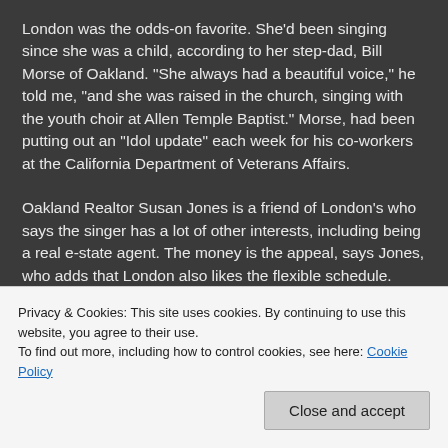London was the odds-on favorite. She'd been singing since she was a child, according to her step-dad, Bill Morse of Oakland. "She always had a beautiful voice," he told me, "and she was raised in the church, singing with the youth choir at Allen Temple Baptist." Morse, had been putting out an "Idol update" each week for his co-workers at the California Department of Veterans Affairs.
Oakland Realtor Susan Jones is a friend of London's who says the singer has a lot of other interests, including being a real e-state agent. The money is the appeal, says Jones, who adds that London also likes the flexible schedule.
Now that her "Idol" competition is over, London can pursue other dreams. Whether it be real estate, or music, or some
Privacy & Cookies: This site uses cookies. By continuing to use this website, you agree to their use.
To find out more, including how to control cookies, see here: Cookie Policy